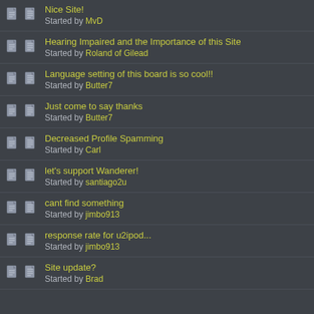Nice Site! Started by MvD
Hearing Impaired and the Importance of this Site Started by Roland of Gilead
Language setting of this board is so cool!! Started by Butter7
Just come to say thanks Started by Butter7
Decreased Profile Spamming Started by Carl
let's support Wanderer! Started by santiago2u
cant find something Started by jimbo913
response rate for u2ipod... Started by jimbo913
Site update? Started by Brad